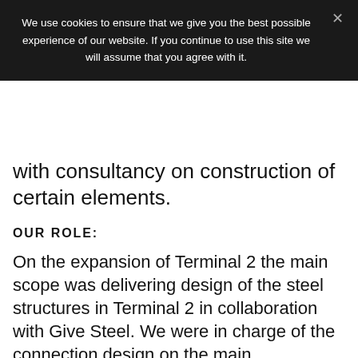We use cookies to ensure that we give you the best possible experience of our website. If you continue to use this site we will assume that you agree with it.
with consultancy on construction of certain elements.
OUR ROLE:
On the expansion of Terminal 2 the main scope was delivering design of the steel structures in Terminal 2 in collaboration with Give Steel. We were in charge of the connection design on the main constructions.
In Pier E we have designed four staircase towers. The structural design of the staircase towers, included structural